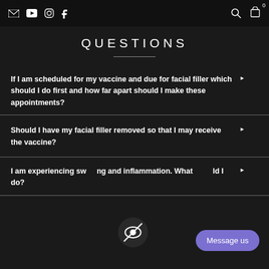Navigation bar with email, youtube, instagram, facebook icons and search, cart icons
QUESTIONS
If I am scheduled for my vaccine and due for facial filler which should I do first and how far apart should I make these appointments?
Should I have my facial filler removed so that I may receive the vaccine?
I am experiencing swelling and inflammation. What should I do?